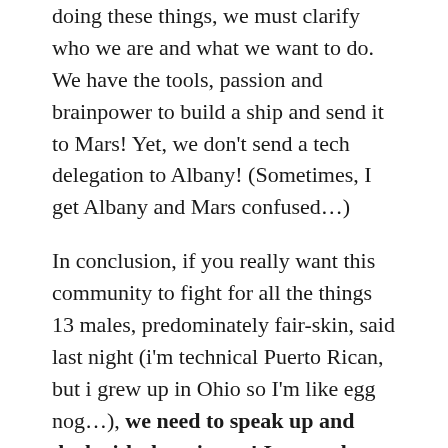doing these things, we must clarify who we are and what we want to do. We have the tools, passion and brainpower to build a ship and send it to Mars! Yet, we don't send a tech delegation to Albany! (Sometimes, I get Albany and Mars confused…)
In conclusion, if you really want this community to fight for all the things 13 males, predominately fair-skin, said last night (i'm technical Puerto Rican, but i grew up in Ohio so I'm like egg nog…), we need to speak up and deal with these issues! I created a campaign site, VoteNoNeck.org, to hear your ideas.
I also know that there are fundamental issues to address: tickets, affiliate/related meetups,